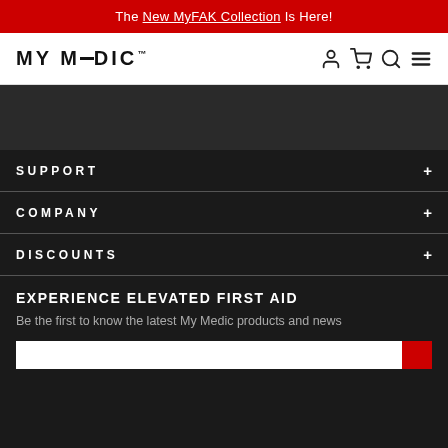The New MyFAK Collection Is Here!
[Figure (logo): MY MEDIC logo with navigation icons (person, cart, search, menu)]
[Figure (photo): Dark image placeholder area]
SUPPORT +
COMPANY +
DISCOUNTS +
EXPERIENCE ELEVATED FIRST AID
Be the first to know the latest My Medic products and news